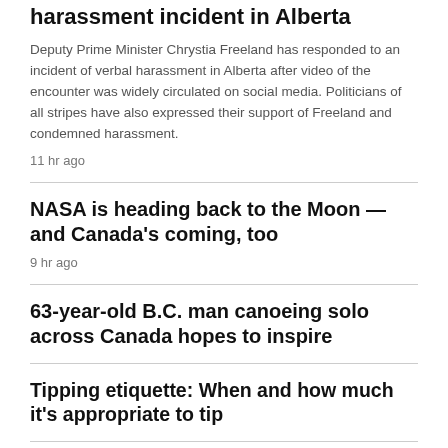harassment incident in Alberta
Deputy Prime Minister Chrystia Freeland has responded to an incident of verbal harassment in Alberta after video of the encounter was widely circulated on social media. Politicians of all stripes have also expressed their support of Freeland and condemned harassment.
11 hr ago
NASA is heading back to the Moon — and Canada's coming, too
9 hr ago
63-year-old B.C. man canoeing solo across Canada hopes to inspire
Tipping etiquette: When and how much it's appropriate to tip